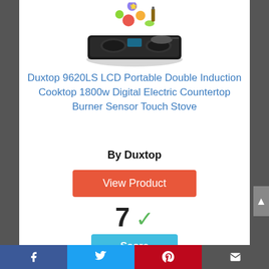[Figure (photo): Product image of Duxtop 9620LS LCD Portable Double Induction Cooktop with vegetables and pans on top, shown against white background]
Duxtop 9620LS LCD Portable Double Induction Cooktop 1800w Digital Electric Countertop Burner Sensor Touch Stove
By Duxtop
View Product
7 ✓
Score